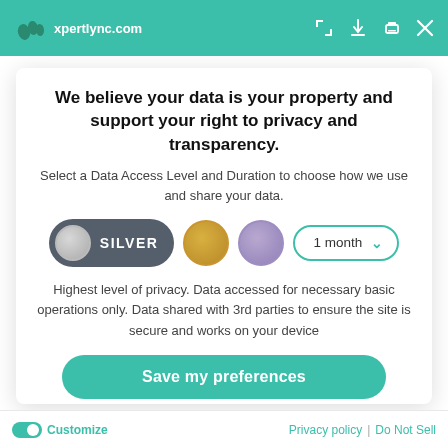xpertlync.com
We believe your data is your property and support your right to privacy and transparency.
Select a Data Access Level and Duration to choose how we use and share your data.
[Figure (infographic): Privacy level selector with SILVER toggle button selected, gold circle, purple circle, and 1 month dropdown]
Highest level of privacy. Data accessed for necessary basic operations only. Data shared with 3rd parties to ensure the site is secure and works on your device
Save my preferences
Customize  |  Privacy policy  |  Do Not Sell